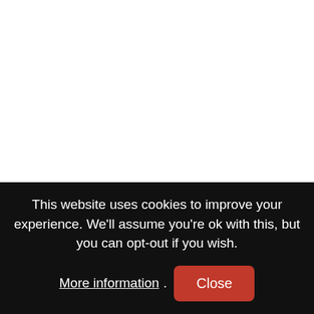$$
4 Guests
This website uses cookies to improve your experience. We'll assume you're ok with this, but you can opt-out if you wish. More information. Close